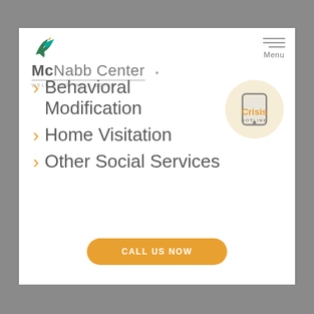[Figure (logo): McNabb Center logo with teal/green bird and tagline WELL MIND, WELL BEING]
Behavioral Modification
[Figure (infographic): Crisis Hotline badge - circular badge with phone icon, text Crisis HOTLINE in orange and gray]
Home Visitation
Other Social Services
CALL US NOW